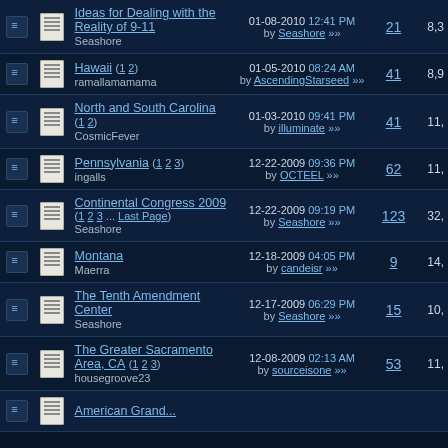|  |  | Thread | Last Post | Replies | Views |
| --- | --- | --- | --- | --- | --- |
|  |  | Ideas for Dealing with the Reality of 9-11
Seashore | 01-08-2010 12:41 PM by Seashore »» | 21 | 8,3 |
|  |  | Hawaii (1 2)
ramallamamama | 01-05-2010 08:24 AM by AscendingStarseed »» | 41 | 8,9 |
|  |  | North and South Carolina (1 2)
CosmicFever | 01-03-2010 09:41 PM by illuminate »» | 41 | 11, |
|  |  | Pennsylvania (1 2 3)
ingalls | 12-22-2009 09:36 PM by OCTEEL »» | 62 | 11, |
|  |  | Continental Congress 2009 (1 2 3 ... Last Page)
Seashore | 12-22-2009 09:19 PM by Seashore »» | 123 | 32, |
|  |  | Montana
Maerra | 12-18-2009 04:05 PM by candeisr »» | 9 | 14, |
|  |  | The Tenth Amendment Center
Seashore | 12-17-2009 06:29 PM by Seashore »» | 15 | 10, |
|  |  | The Greater Sacramento Area, CA (1 2 3)
housegroove23 | 12-08-2009 02:13 AM by sourceisone »» | 53 | 11, |
|  |  | American Grand... |  |  |  |